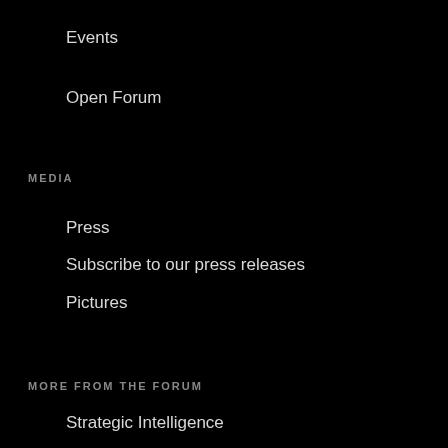Events
Open Forum
MEDIA
Press
Subscribe to our press releases
Pictures
MORE FROM THE FORUM
Strategic Intelligence
UpLink